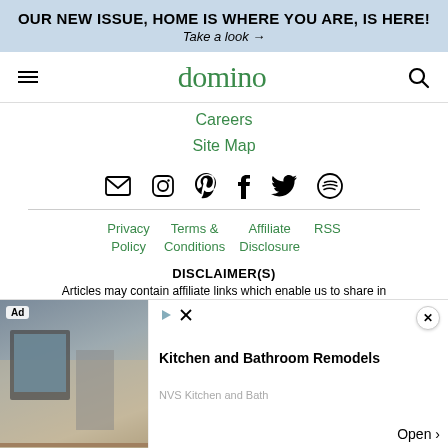OUR NEW ISSUE, HOME IS WHERE YOU ARE, IS HERE!
Take a look →
domino
Careers
Site Map
[Figure (other): Social media icons row: email, Instagram, Pinterest, Facebook, Twitter, Spotify]
Privacy Policy
Terms & Conditions
Affiliate Disclosure
RSS
DISCLAIMER(S)
Articles may contain affiliate links which enable us to share in
[Figure (screenshot): Advertisement overlay: Kitchen and Bathroom Remodels by NVS Kitchen and Bath, with an interior photo showing a home theater/staircase room.]